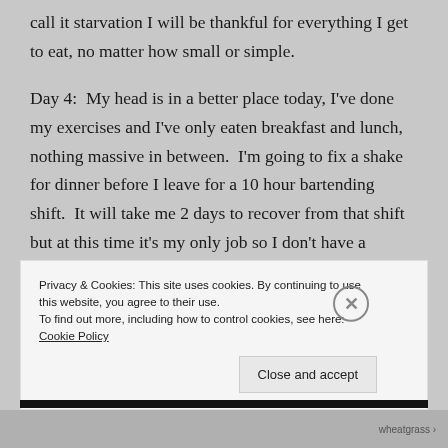call it starvation I will be thankful for everything I get to eat, no matter how small or simple.
Day 4:  My head is in a better place today, I've done my exercises and I've only eaten breakfast and lunch, nothing massive in between.  I'm going to fix a shake for dinner before I leave for a 10 hour bartending shift.  It will take me 2 days to recover from that shift but at this time it's my only job so I don't have a choice.
Privacy & Cookies: This site uses cookies. By continuing to use this website, you agree to their use.
To find out more, including how to control cookies, see here: Cookie Policy